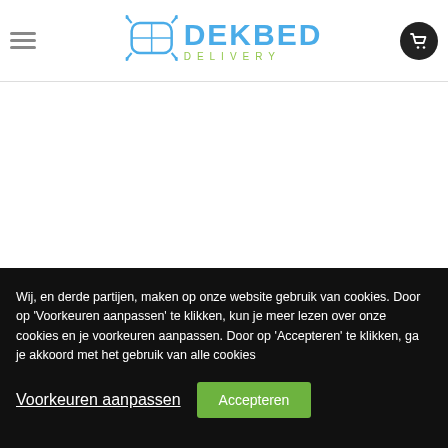[Figure (logo): Dekbed Delivery logo with stylized bed/pillow icon in blue and green text]
VOLG ONS
Wij, en derde partijen, maken op onze website gebruik van cookies. Door op 'Voorkeuren aanpassen' te klikken, kun je meer lezen over onze cookies en je voorkeuren aanpassen. Door op 'Accepteren' te klikken, ga je akkoord met het gebruik van alle cookies
Voorkeuren aanpassen
Accepteren